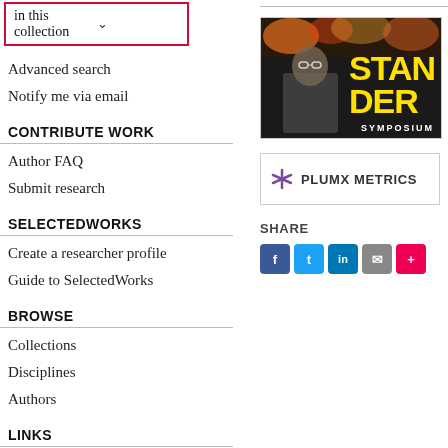in this collection
Advanced search
Notify me via email
CONTRIBUTE WORK
Author FAQ
Submit research
SELECTEDWORKS
Create a researcher profile
Guide to SelectedWorks
BROWSE
Collections
Disciplines
Authors
LINKS
Stander Symposium website
[Figure (illustration): Stander Symposium promotional image with bold yellow text on dark background showing a person with glasses]
[Figure (other): PlumX Metrics badge with asterisk icon]
SHARE
Social share buttons: Facebook, Twitter, LinkedIn, Email, More